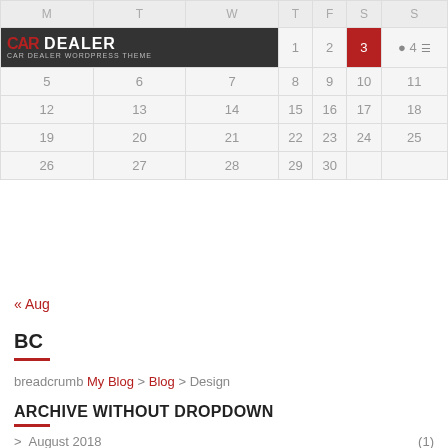| M | T | W | T | F | S | S |
| --- | --- | --- | --- | --- | --- | --- |
|  |  |  | 1 | 2 | 3 | 4 |
| 5 | 6 | 7 | 8 | 9 | 10 | 11 |
| 12 | 13 | 14 | 15 | 16 | 17 | 18 |
| 19 | 20 | 21 | 22 | 23 | 24 | 25 |
| 26 | 27 | 28 | 29 | 30 |  |  |
« Aug
BC
breadcrumb My Blog > Blog > Design
ARCHIVE WITHOUT DROPDOWN
> August 2018 (1)